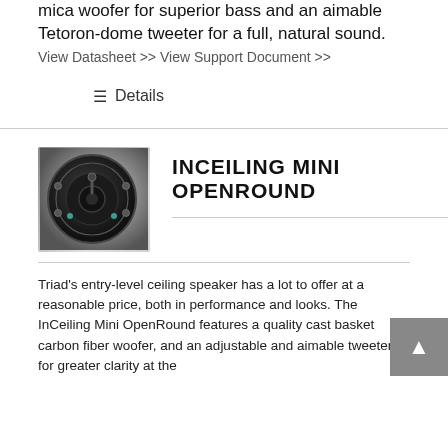mica woofer for superior bass and an aimable Tetoron-dome tweeter for a full, natural sound. View Datasheet >> View Support Document >>
Details
INCEILING MINI OPENROUND
[Figure (photo): Round in-ceiling speaker with black cast basket and adjustable tweeter, shown from below against a gradient background.]
Triad's entry-level ceiling speaker has a lot to offer at a reasonable price, both in performance and looks. The InCeiling Mini OpenRound features a quality cast basket carbon fiber woofer, and an adjustable and aimable tweeter for greater clarity at the